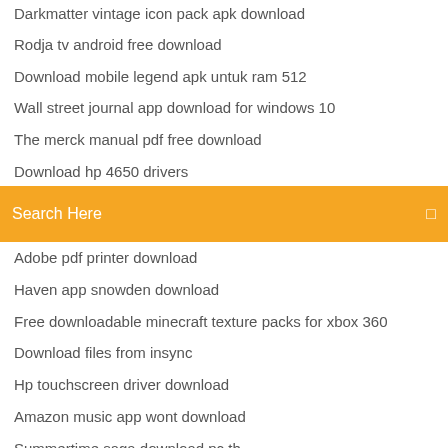Darkmatter vintage icon pack apk download
Rodja tv android free download
Download mobile legend apk untuk ram 512
Wall street journal app download for windows 10
The merck manual pdf free download
Download hp 4650 drivers
Download flac or mp4 songs
Search Here
Adobe pdf printer download
Haven app snowden download
Free downloadable minecraft texture packs for xbox 360
Download files from insync
Hp touchscreen driver download
Amazon music app wont download
Summertime saga download pc th
Free download cremation and burial wishes pdf forms
Alexa look files download
Photo studio download for android